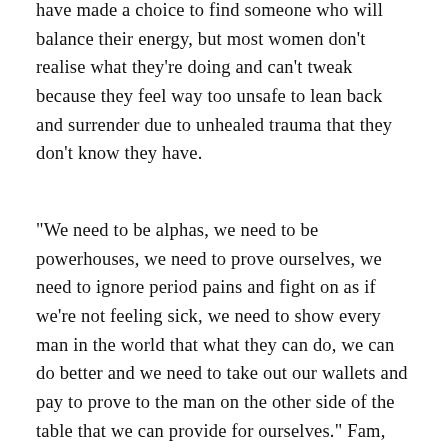have made a choice to find someone who will balance their energy, but most women don't realise what they're doing and can't tweak because they feel way too unsafe to lean back and surrender due to unhealed trauma that they don't know they have.
“We need to be alphas, we need to be powerhouses, we need to prove ourselves, we need to ignore period pains and fight on as if we’re not feeling sick, we need to show every man in the world that what they can do, we can do better and we need to take out our wallets and pay to prove to the man on the other side of the table that we can provide for ourselves.” Fam, no. Lol.